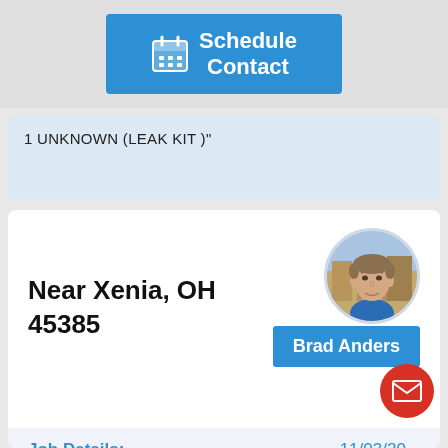[Figure (screenshot): Blue Schedule Contact button with calendar icon]
1 UNKNOWN (LEAK KIT )"
Near Xenia, OH 45385
[Figure (photo): Profile photo of Brad Anders, a man in a blue shirt]
Brad Anders
Job Details:   11/03/20...